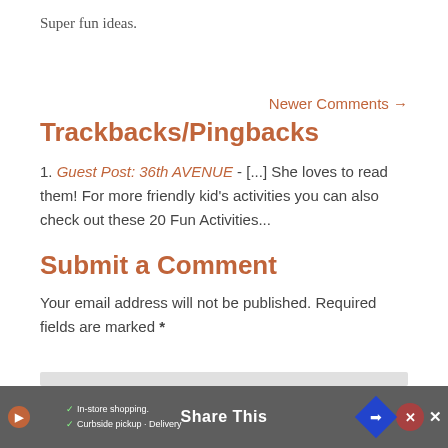Super fun ideas.
Newer Comments →
Trackbacks/Pingbacks
1. Guest Post: 36th AVENUE - [...] She loves to read them! For more friendly kid's activities you can also check out these 20 Fun Activities...
Submit a Comment
Your email address will not be published. Required fields are marked *
Share This